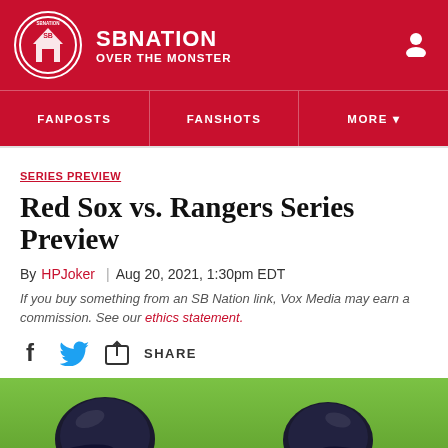SB NATION | OVER THE MONSTER
FANPOSTS | FANSHOTS | MORE
SERIES PREVIEW
Red Sox vs. Rangers Series Preview
By HPJoker | Aug 20, 2021, 1:30pm EDT
If you buy something from an SB Nation link, Vox Media may earn a commission. See our ethics statement.
SHARE
[Figure (photo): Two baseball players wearing dark helmets viewed from behind, standing on green grass field]